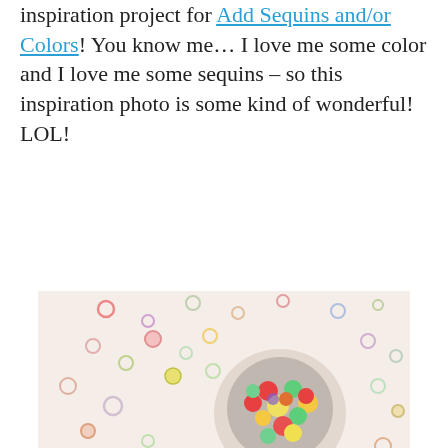inspiration project for Add Sequins and/or Colors! You know me… I love me some color and I love me some sequins – so this inspiration photo is some kind of wonderful! LOL!
[Figure (photo): Top-down photo of colorful sequins scattered on a white/cream surface with a white bowl filled with mixed colorful sequins in the center. Below the photo is a color palette strip showing six swatches: light pink, lavender, coral/red-orange, mint green, light green, and yellow.]